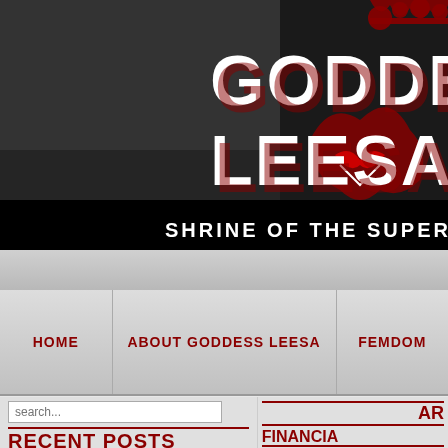[Figure (screenshot): Website banner with dark textured background, decorative crown/floral red graphic elements, large white text reading GODDE... LEESA... with red shadow, and subtitle SHRINE OF THE SUPERIO...]
HOME
ABOUT GODDESS LEESA
FEMDOM
search...
RECENT POSTS
Prosperity vs bankruptcy
Wishlist slave exploitation.
AR
FINANCIA
POSTED BY GODDESS LEESA ON THURS